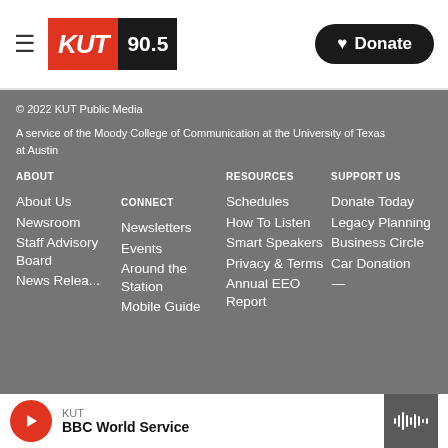[Figure (logo): KUT 90.5 radio station logo with red KUT block and black 90.5 block]
Donate
© 2022 KUT Public Media
A service of the Moody College of Communication at the University of Texas at Austin
ABOUT
About Us
Newsroom
Staff Advisory Board
News Releases
CONNECT
Newsletters
Events
Around the Station
Mobile Guide
RESOURCES
Schedules
How To Listen
Smart Speakers
Privacy & Terms
Annual EEO Report
SUPPORT US
Donate Today
Legacy Planning
Business Circle
Car Donation
KUT BBC World Service